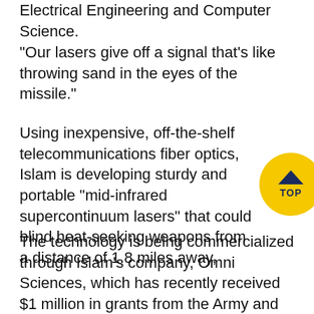Electrical Engineering and Computer Science.
“Our lasers give off a signal that’s like throwing sand in the eyes of the missile.”
Using inexpensive, off-the-shelf telecommunications fiber optics, Islam is developing sturdy and portable “mid-infrared supercontinuum lasers” that could blind heat-seeking weapons from a distance of 1.8 miles away,
[Figure (other): Yellow circular badge with dark blue chevron arrow pointing up and text TOP]
The technology is being commercialized through Islam’s company, Omni Sciences, which has recently received $1 million in grants from the Army and the Defense Advanced Research Projects Agency (DARPA) to build a second-generation prototype. The Army grant is for $730,000 and the DARPA funding is $300,000...